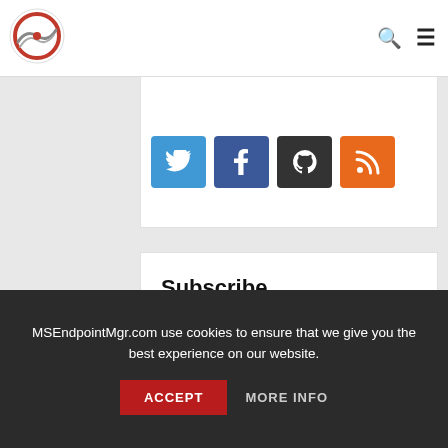[Figure (logo): MSEndpointMgr logo - circular wave/globe icon with red and grey colors]
[Figure (infographic): Social media buttons: Twitter (blue), Facebook (dark blue), GitHub (dark), RSS (orange)]
Subscribe
Do you want to be notified of new posts on our site?
Please enter your email address below:
Email address:
MSEndpointMgr.com use cookies to ensure that we give you the best experience on our website.
ACCEPT
MORE INFO